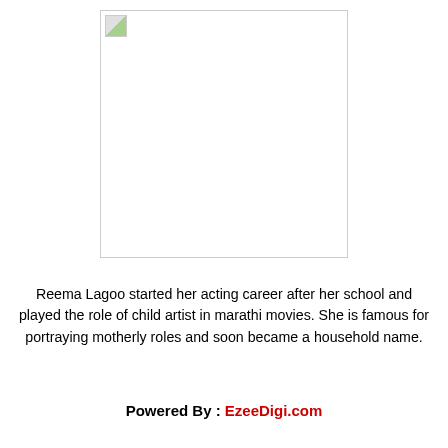[Figure (photo): A broken/missing image placeholder showing a small image icon with a white/gray rectangle, representing a photo of Reema Lagoo that failed to load.]
Reema Lagoo started her acting career after her school and played the role of child artist in marathi movies. She is famous for portraying motherly roles and soon became a household name.
Powered By : EzeeDigi.com